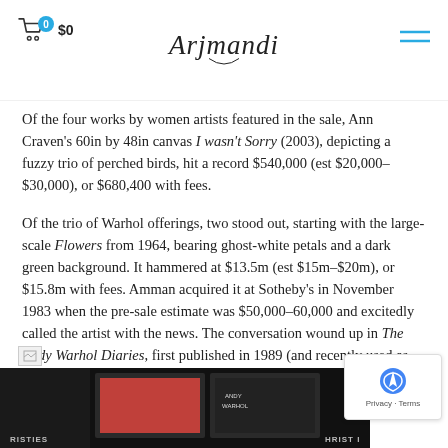Arjmandi — $0 cart, hamburger menu
Of the four works by women artists featured in the sale, Ann Craven's 60in by 48in canvas I wasn't Sorry (2003), depicting a fuzzy trio of perched birds, hit a record $540,000 (est $20,000–$30,000), or $680,400 with fees.
Of the trio of Warhol offerings, two stood out, starting with the large-scale Flowers from 1964, bearing ghost-white petals and a dark green background. It hammered at $13.5m (est $15m–$20m), or $15.8m with fees. Amman acquired it at Sotheby's in November 1983 when the pre-sale estimate was $50,000–60,000 and excitedly called the artist with the news. The conversation wound up in The Andy Warhol Diaries, first published in 1989 (and recently used as the basis for a Netflix documentary series of the same name).
[Figure (photo): Auction house photo strip showing Christie's sale items including Andy Warhol works, dark background with Christie's branding visible]